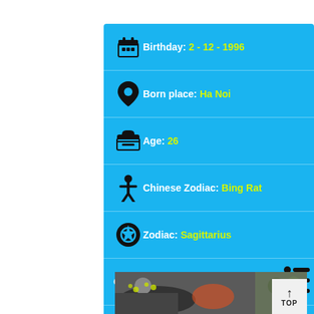Birthday: 2 - 12 - 1996
Born place: Ha Noi
Age: 26
Chinese Zodiac: Bing Rat
Zodiac: Sagittarius
Celebrities named Shyn
Celebrities named Anh Shyn
Celebrities named Quynh Anh Shyn
[Figure (photo): Partial photo of a person outdoors with green/yellow flowers and colorful background, partially visible at bottom of page]